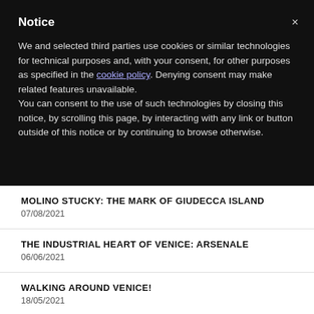Notice
We and selected third parties use cookies or similar technologies for technical purposes and, with your consent, for other purposes as specified in the cookie policy. Denying consent may make related features unavailable.
You can consent to the use of such technologies by closing this notice, by scrolling this page, by interacting with any link or button outside of this notice or by continuing to browse otherwise.
MOLINO STUCKY: THE MARK OF GIUDECCA ISLAND
07/08/2021
THE INDUSTRIAL HEART OF VENICE: ARSENALE
06/06/2021
WALKING AROUND VENICE!
18/05/2021